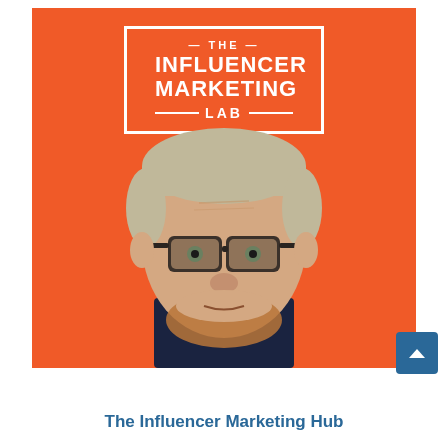[Figure (photo): Orange background with a man wearing dark-framed glasses and a dark shirt. Above him is the 'The Influencer Marketing Lab' logo in white text inside a rectangular border.]
The Influencer Marketing Hub